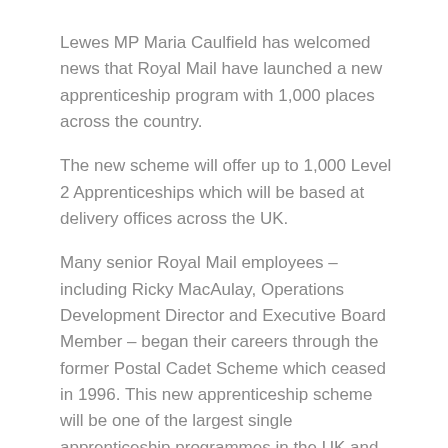Lewes MP Maria Caulfield has welcomed news that Royal Mail have launched a new apprenticeship program with 1,000 places across the country.
The new scheme will offer up to 1,000 Level 2 Apprenticeships which will be based at delivery offices across the UK.
Many senior Royal Mail employees – including Ricky MacAulay, Operations Development Director and Executive Board Member – began their careers through the former Postal Cadet Scheme which ceased in 1996. This new apprenticeship scheme will be one of the largest single apprenticeship programmes in the UK and will bring fresh talent into Royal Mail. All applicants who successfully complete the scheme will be offered a permanent role.